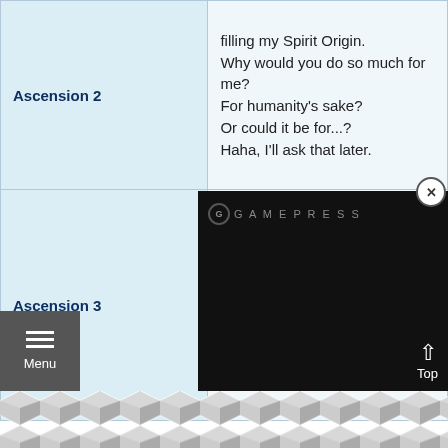| Label | Text |
| --- | --- |
| Ascension 2 | filling my Spirit Origin.
Why would you do so much for me?
For humanity's sake?
Or could it be for...?
Haha, I'll ask that later. |
| Ascension 3 | Lady Justice...
That is certainly a fitting name for me given the glorious ring it has.
And now that you've come |
[Figure (screenshot): Dark overlay panel with GamePress logo (G), a close button (X circle), and a Top button with upward arrow at bottom right]
[Figure (other): Menu button (hamburger icon with three lines and 'Menu' text) on dark gray background at bottom left]
[Figure (illustration): Bottom decorative banner with gray geometric hexagonal/diamond pattern]